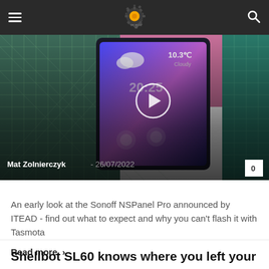Navigation bar with hamburger menu, logo (gear/sun icon), and search icon
[Figure (photo): Close-up photo of a tablet/smart panel device showing a home automation interface with weather (10.3°C, Cloudy), time (20:25), and app icons. A play button overlay is centered on the image.]
Mat Zolnierczyk  -  26/07/2022
0
An early look at the Sonoff NSPanel Pro announced by ITEAD - find out what to expect and why you can't flash it with Tasmota
Read more  >
Shellbot SL60 knows where you left your